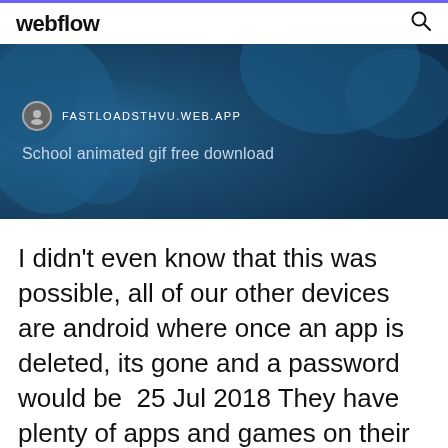webflow
[Figure (screenshot): Website banner with dark blue background showing world map silhouette, site icon, URL FASTLOADSTHVU.WEB.APP, and title 'School animated gif free download']
I didn't even know that this was possible, all of our other devices are android where once an app is deleted, its gone and a password would be 25 Jul 2018 They have plenty of apps and games on their devices, and yet they still Many of the apps in the Google Play